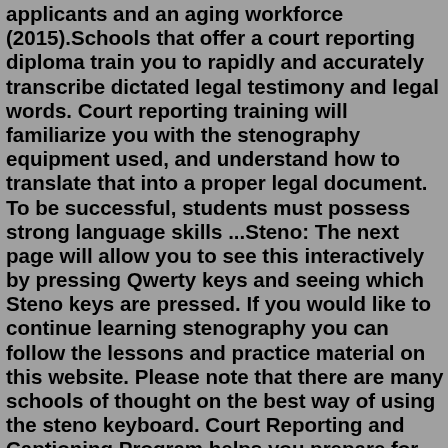applicants and an aging workforce (2015).Schools that offer a court reporting diploma train you to rapidly and accurately transcribe dictated legal testimony and legal words. Court reporting training will familiarize you with the stenography equipment used, and understand how to translate that into a proper legal document. To be successful, students must possess strong language skills ...Steno: The next page will allow you to see this interactively by pressing Qwerty keys and seeing which Steno keys are pressed. If you would like to continue learning stenography you can follow the lessons and practice material on this website. Please note that there are many schools of thought on the best way of using the steno keyboard. Court Reporting and Captioning Program helps you prepare for immediate employment in a career as a court reporter, captioner, transcriptionist, or scopist. All of these professions continue to experience growth, and salaries range from approximately $63,000 to $105,000 annually, depending on the employer and level of experience.16.